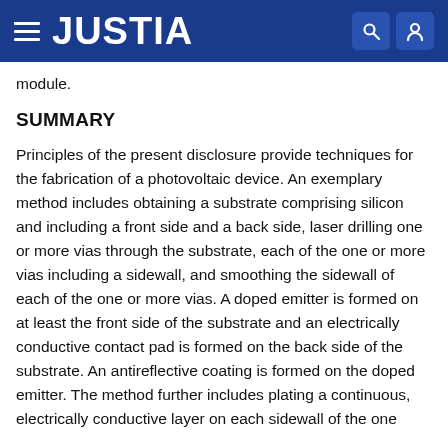JUSTIA
module.
SUMMARY
Principles of the present disclosure provide techniques for the fabrication of a photovoltaic device. An exemplary method includes obtaining a substrate comprising silicon and including a front side and a back side, laser drilling one or more vias through the substrate, each of the one or more vias including a sidewall, and smoothing the sidewall of each of the one or more vias. A doped emitter is formed on at least the front side of the substrate and an electrically conductive contact pad is formed on the back side of the substrate. An antireflective coating is formed on the doped emitter. The method further includes plating a continuous, electrically conductive layer on each sidewall of the one